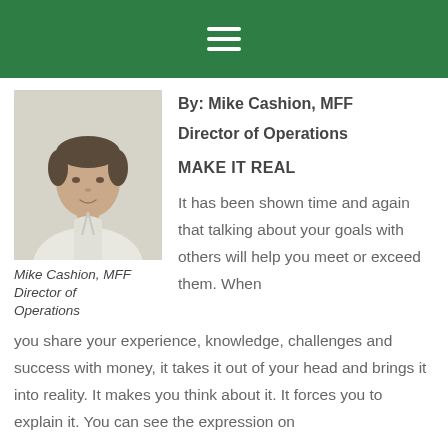☰ (hamburger menu icon)
[Figure (photo): Headshot photo of Mike Cashion, a man in a white zip-up jacket, smiling slightly, against a light background.]
Mike Cashion, MFF Director of Operations
By: Mike Cashion, MFF
Director of Operations

MAKE IT REAL

It has been shown time and again that talking about your goals with others will help you meet or exceed them. When you share your experience, knowledge, challenges and success with money, it takes it out of your head and brings it into reality. It makes you think about it. It forces you to explain it. You can see the expression on